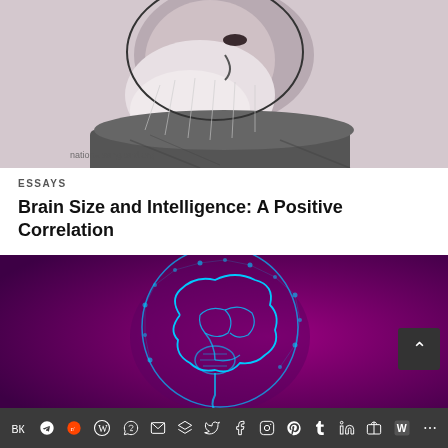[Figure (photo): Black and white engraving/illustration of an elderly bearded man in profile view (resembling Charles Darwin), with watermark text 'nationalvanguard.org' at bottom left]
ESSAYS
Brain Size and Intelligence: A Positive Correlation
[Figure (illustration): Digital illustration of a human head silhouette in profile with a glowing blue brain network diagram inside, on a dark purple/magenta gradient background]
Share icons bar: VK, Telegram, Reddit, WordPress, WhatsApp, Email, Buffer, Twitter, Facebook, Instagram, Pinterest, Tumblr, LinkedIn, Share, Webtoons, More